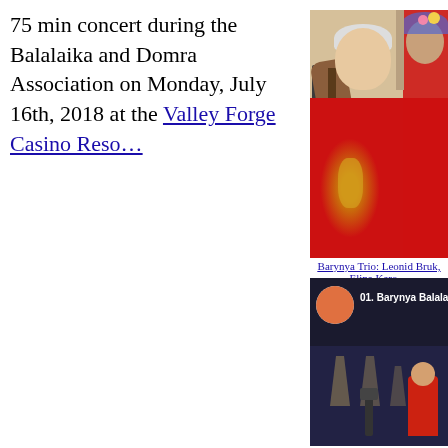75 min concert during the Balalaika and Domra Association on Monday, July 16th, 2018 at the Valley Forge Casino Reso…
[Figure (photo): Barynya Trio performers in red traditional Russian costumes. A man with white hair holds a balalaika instrument, wearing a red embroidered shirt. A woman stands beside him wearing a floral crown and red dress.]
Barynya Trio: Leonid Bruk, Elina Karo…
[Figure (screenshot): Video thumbnail showing '01. Barynya Balalaika Trio, BDAA' with a circular avatar image and a performer on a dark stage with lights.]